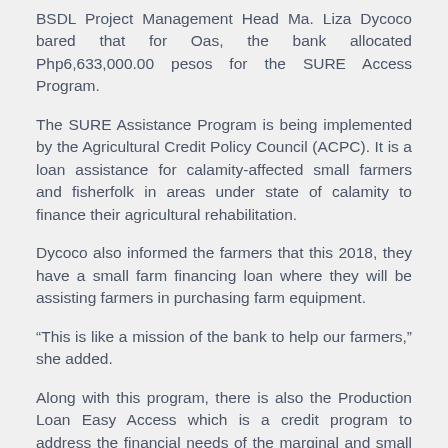BSDL Project Management Head Ma. Liza Dycoco bared that for Oas, the bank allocated Php6,633,000.00 pesos for the SURE Access Program.
The SURE Assistance Program is being implemented by the Agricultural Credit Policy Council (ACPC). It is a loan assistance for calamity-affected small farmers and fisherfolk in areas under state of calamity to finance their agricultural rehabilitation.
Dycoco also informed the farmers that this 2018, they have a small farm financing loan where they will be assisting farmers in purchasing farm equipment.
“This is like a mission of the bank to help our farmers,” she added.
Along with this program, there is also the Production Loan Easy Access which is a credit program to address the financial needs of the marginal and small farmers and fisherfolk from government units affected by calamities.